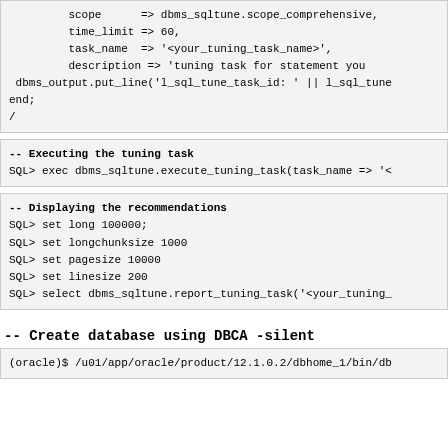scope      => dbms_sqltune.scope_comprehensive,
         time_limit => 60,
         task_name  => '<your_tuning_task_name>',
         description => 'tuning task for statement you
 dbms_output.put_line('l_sql_tune_task_id: ' || l_sql_tune
end;
/
-- Executing the tuning task
SQL> exec dbms_sqltune.execute_tuning_task(task_name => '<
-- Displaying the recommendations
SQL> set long 100000;
SQL> set longchunksize 1000
SQL> set pagesize 10000
SQL> set linesize 200
SQL> select dbms_sqltune.report_tuning_task('<your_tuning_
-- Create database using DBCA -silent
(oracle)$ /u01/app/oracle/product/12.1.0.2/dbhome_1/bin/db